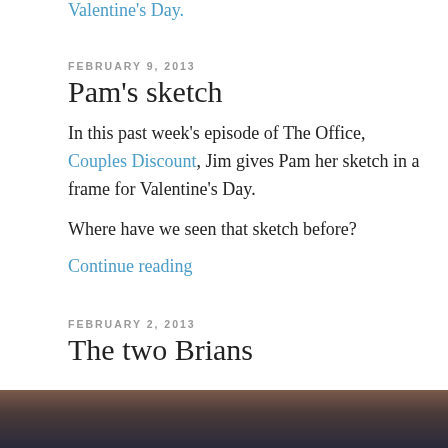Valentine's Day.
FEBRUARY 9, 2013
Pam's sketch
In this past week's episode of The Office, Couples Discount, Jim gives Pam her sketch in a frame for Valentine's Day.
Where have we seen that sketch before?
Continue reading
FEBRUARY 2, 2013
The two Brians
[Figure (photo): Bottom portion of a photo, partially visible at the bottom of the page]